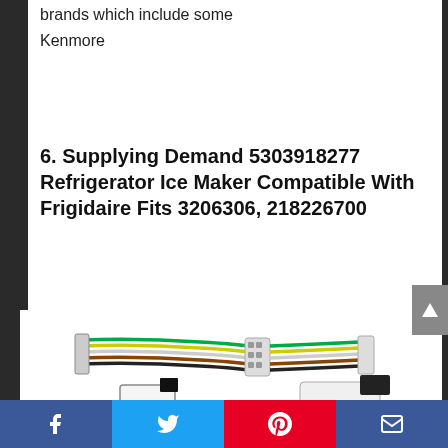brands which include some
Kenmore
6. Supplying Demand 5303918277 Refrigerator Ice Maker Compatible With Frigidaire Fits 3206306, 218226700
[Figure (photo): Photo of refrigerator ice maker wiring harness/connector assembly with colored wires and white plastic connectors]
Facebook | Twitter | Pinterest | Email (social share bar)